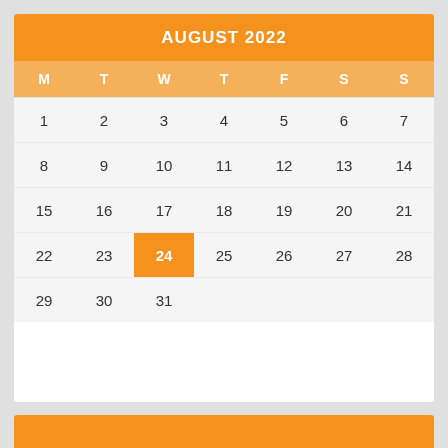| M | T | W | T | F | S | S |
| --- | --- | --- | --- | --- | --- | --- |
| 1 | 2 | 3 | 4 | 5 | 6 | 7 |
| 8 | 9 | 10 | 11 | 12 | 13 | 14 |
| 15 | 16 | 17 | 18 | 19 | 20 | 21 |
| 22 | 23 | 24 | 25 | 26 | 27 | 28 |
| 29 | 30 | 31 |  |  |  |  |
« Jul